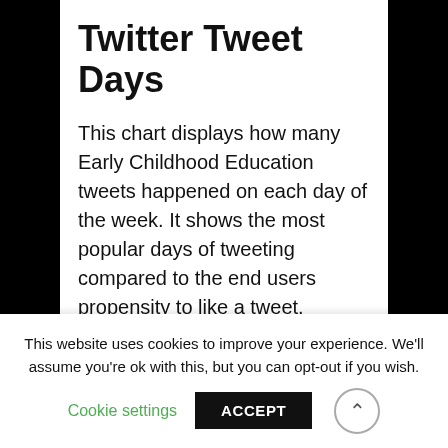Twitter Tweet Days
This chart displays how many Early Childhood Education tweets happened on each day of the week. It shows the most popular days of tweeting compared to the end users propensity to like a tweet.
[Figure (line-chart): Line chart showing Number of Tweets (blue) and Average Likability (red) by day of week. Y-axis left: 3,500 to 4,500; Y-axis right: 3.5 to 4.5. Blue line peaks around midweek. Red line rises steeply near the end.]
This website uses cookies to improve your experience. We'll assume you're ok with this, but you can opt-out if you wish.
Cookie settings
ACCEPT